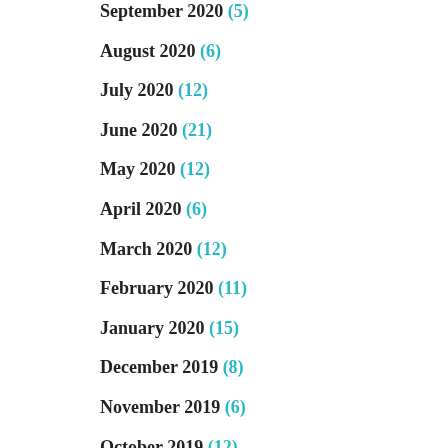September 2020 (5)
August 2020 (6)
July 2020 (12)
June 2020 (21)
May 2020 (12)
April 2020 (6)
March 2020 (12)
February 2020 (11)
January 2020 (15)
December 2019 (8)
November 2019 (6)
October 2019 (12)
September 2019 (9)
August 2019 (57)
July 2019 (18)